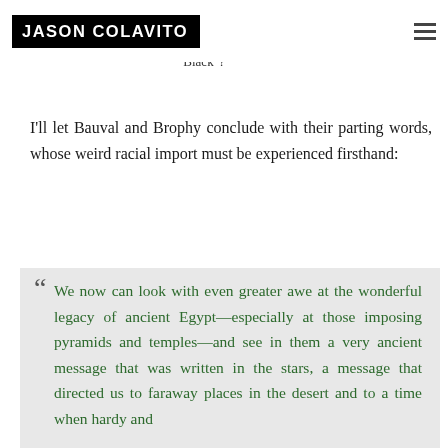JASON COLAVITO
of the endless chapter melanin levels and who counts as a true 'Black'?
I'll let Bauval and Brophy conclude with their parting words, whose weird racial import must be experienced firsthand:
We now can look with even greater awe at the wonderful legacy of ancient Egypt—especially at those imposing pyramids and temples—and see in them a very ancient message that was written in the stars, a message that directed us to faraway places in the desert and to a time when hardy and